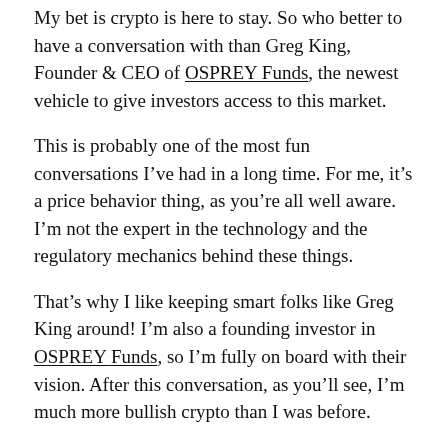My bet is crypto is here to stay. So who better to have a conversation with than Greg King, Founder & CEO of OSPREY Funds, the newest vehicle to give investors access to this market.
This is probably one of the most fun conversations I've had in a long time. For me, it's a price behavior thing, as you're all well aware. I'm not the expert in the technology and the regulatory mechanics behind these things.
That's why I like keeping smart folks like Greg King around! I'm also a founding investor in OSPREY Funds, so I'm fully on board with their vision. After this conversation, as you'll see, I'm much more bullish crypto than I was before.
This was so awesome.